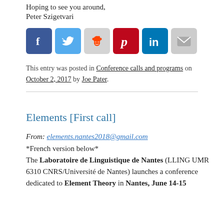Hoping to see you around,
Peter Szigetvari
[Figure (other): Row of six social media sharing icons: Facebook (blue), Twitter (light blue), Reddit (gray), Pinterest (red), LinkedIn (dark blue), Email (gray)]
This entry was posted in Conference calls and programs on October 2, 2017 by Joe Pater.
Elements [First call]
From: elements.nantes2018@gmail.com
*French version below*
The Laboratoire de Linguistique de Nantes (LLING UMR 6310 CNRS/Université de Nantes) launches a conference dedicated to Element Theory in Nantes, June 14-15